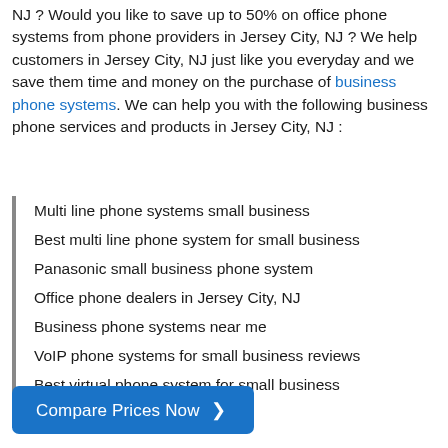NJ ? Would you like to save up to 50% on office phone systems from phone providers in Jersey City, NJ ? We help customers in Jersey City, NJ just like you everyday and we save them time and money on the purchase of business phone systems. We can help you with the following business phone services and products in Jersey City, NJ :
Multi line phone systems small business
Best multi line phone system for small business
Panasonic small business phone system
Office phone dealers in Jersey City, NJ
Business phone systems near me
VoIP phone systems for small business reviews
Best virtual phone system for small business
Office phone provider
Compare Prices Now ❯